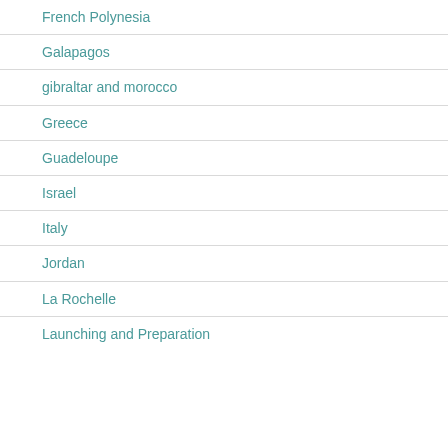French Polynesia
Galapagos
gibraltar and morocco
Greece
Guadeloupe
Israel
Italy
Jordan
La Rochelle
Launching and Preparation